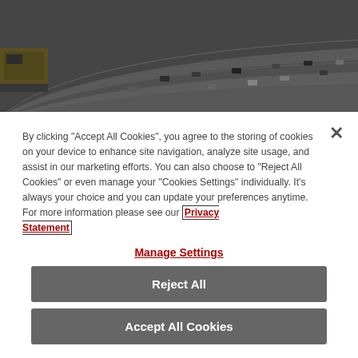[Figure (photo): Aerial view of a highway interchange with multiple lanes of cars and a train on the left side, dark overlay tint]
By clicking "Accept All Cookies", you agree to the storing of cookies on your device to enhance site navigation, analyze site usage, and assist in our marketing efforts. You can also choose to "Reject All Cookies" or even manage your "Cookies Settings" individually. It's always your choice and you can update your preferences anytime. For more information please see our Privacy Statement
Manage Settings
Reject All
Accept All Cookies